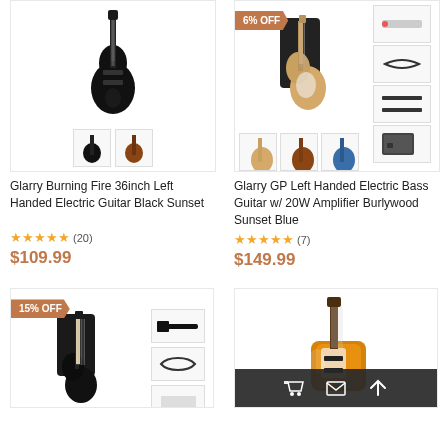[Figure (photo): Glarry Burning Fire 36inch Left Handed Electric Guitar Black Sunset product listing with main guitar image and two thumbnail variants]
Glarry Burning Fire 36inch Left Handed Electric Guitar Black Sunset
★★★★★ (20)
$109.99
[Figure (photo): Glarry GP Left Handed Electric Bass Guitar w/ 20W Amplifier Burlywood Sunset Blue with 6% OFF badge, main image, side thumbnails and bottom color variants]
Glarry GP Left Handed Electric Bass Guitar w/ 20W Amplifier Burlywood Sunset Blue
★★★★★ (7)
$149.99
[Figure (photo): Guitar product with 15% OFF badge and accessory thumbnails on right]
[Figure (photo): Orange/amber electric guitar with dark overlay bar showing cart, envelope and arrow icons]